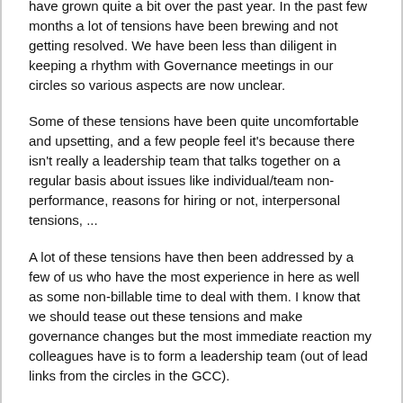have grown quite a bit over the past year. In the past few months a lot of tensions have been brewing and not getting resolved. We have been less than diligent in keeping a rhythm with Governance meetings in our circles so various aspects are now unclear.
Some of these tensions have been quite uncomfortable and upsetting, and a few people feel it's because there isn't really a leadership team that talks together on a regular basis about issues like individual/team non-performance, reasons for hiring or not, interpersonal tensions, ...
A lot of these tensions have then been addressed by a few of us who have the most experience in here as well as some non-billable time to deal with them. I know that we should tease out these tensions and make governance changes but the most immediate reaction my colleagues have is to form a leadership team (out of lead links from the circles in the GCC).
The feeling is that a team is needed and that making more clear roles/accountabilities will not help deal with interlocking internal problems.